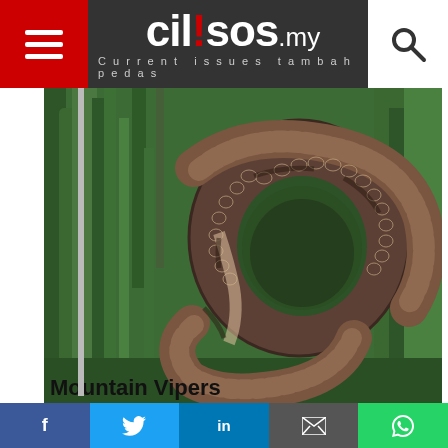cil!sos.my — Current issues tambah pedas
[Figure (photo): Close-up photo of a Trimeresurus purpureomaculatus (mangrove or shore pit viper) coiled among green grass/vegetation. The snake has a distinctive scaly pattern with brown and cream coloring.]
Trimeresurus purpureomaculatus a.k.a mangrove or shore pit viper. Image from Chan Kin Onn.
Mountain Vipers
Also true to its name, it lives in mountainous areas.
f  Twitter  in  Email  WhatsApp